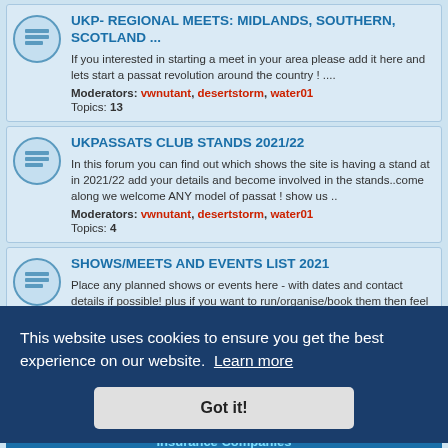UKP- REGIONAL MEETS: MIDLANDS, SOUTHERN, SCOTLAND ... If you interested in starting a meet in your area please add it here and lets start a passat revolution around the country ! .... Moderators: vwnutant, desertstorm, water01 Topics: 13
UKPASSATS CLUB STANDS 2021/22 In this forum you can find out which shows the site is having a stand at in 2021/22 add your details and become involved in the stands..come along we welcome ANY model of passat ! show us .. Moderators: vwnutant, desertstorm, water01 Topics: 4
SHOWS/MEETS AND EVENTS LIST 2021 Place any planned shows or events here - with dates and contact details if possible! plus if you want to run/organise/book them then feel free to let people know. Moderators: vwnutant, desertstorm, water01 Topics: 3
SHOW PICTURES AND REVIEWS
Insurance Companies
ADRIAN FLUX INSURANCE SERVICES Adrian Flux Insurance Services - the UK's largest specialist broker, discounts, ...
This website uses cookies to ensure you get the best experience on our website. Learn more Got it!